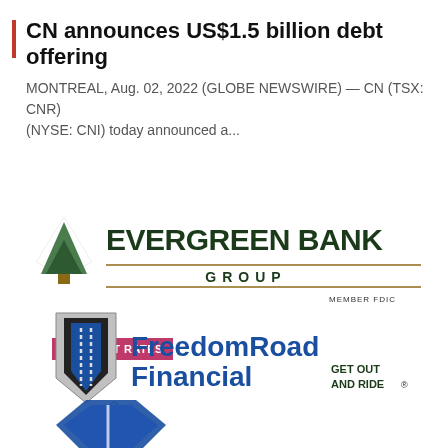CN announces US$1.5 billion debt offering
MONTREAL, Aug. 02, 2022 (GLOBE NEWSWIRE) — CN (TSX: CNR) (NYSE: CNI) today announced a...
[Figure (logo): Evergreen Bank Group logo with a green triangle/tree icon, text EVERGREEN BANK GROUP with horizontal lines, MEMBER FDIC, and a pink INTEREST RATES badge above]
[Figure (logo): FreedomRoad Financial logo with a grey/blue downward-pointing chevron/road icon and bold blue text FreedomRoad Financial with GET OUT AND RIDE tagline]
[Figure (logo): Partial logo at bottom, blue stylized letter shape, partially cut off]